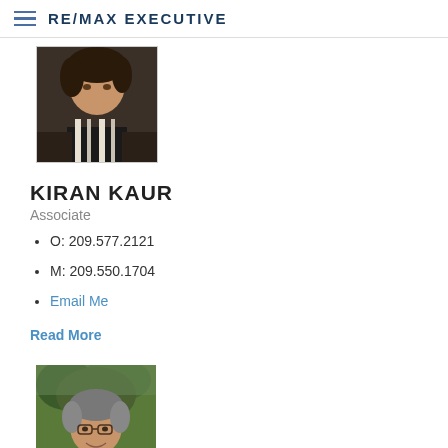RE/MAX EXECUTIVE
[Figure (photo): Profile photo of Kiran Kaur, woman in dark jacket with striped scarf]
KIRAN KAUR
Associate
O: 209.577.2121
M: 209.550.1704
Email Me
Read More
[Figure (photo): Profile photo of male agent wearing glasses, outdoors with trees in background]